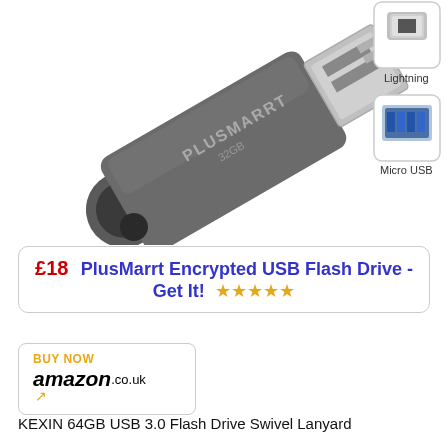[Figure (photo): PlusMarrt 32GB encrypted USB flash drive with swivel cap, gray metallic body, showing USB-A connector end, with side icons for Lightning and Micro USB connectors]
£18   PlusMarrt Encrypted USB Flash Drive - Get It!  ★★★★★
[Figure (logo): BUY NOW amazon.co.uk button with orange arrow smile logo]
KEXIN 64GB USB 3.0 Flash Drive Swivel Lanyard